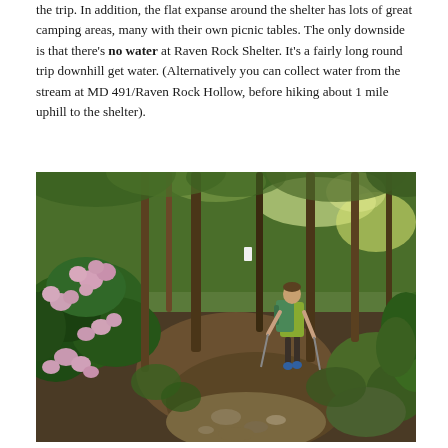the trip. In addition, the flat expanse around the shelter has lots of great camping areas, many with their own picnic tables. The only downside is that there's no water at Raven Rock Shelter. It's a fairly long round trip downhill get water. (Alternatively you can collect water from the stream at MD 491/Raven Rock Hollow, before hiking about 1 mile uphill to the shelter).
[Figure (photo): A hiker with a green backpack and trekking poles walks along a rocky forest trail. Pink rhododendron flowers bloom in the foreground on the left. Tall trees with green foliage surround the path.]